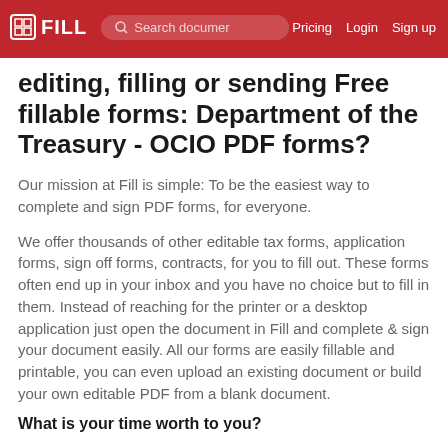FILL | Search documents | Pricing | Login | Sign up
editing, filling or sending Free fillable forms: Department of the Treasury - OCIO PDF forms?
Our mission at Fill is simple: To be the easiest way to complete and sign PDF forms, for everyone.
We offer thousands of other editable tax forms, application forms, sign off forms, contracts, for you to fill out. These forms often end up in your inbox and you have no choice but to fill in them. Instead of reaching for the printer or a desktop application just open the document in Fill and complete & sign your document easily. All our forms are easily fillable and printable, you can even upload an existing document or build your own editable PDF from a blank document.
What is your time worth to you?